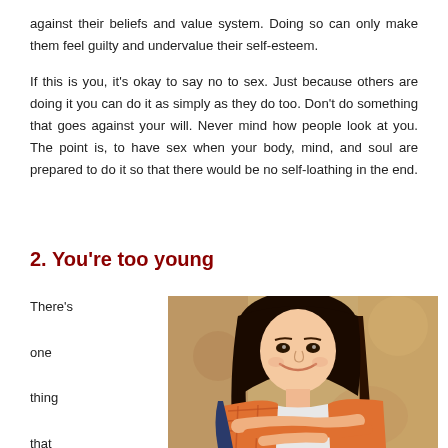against their beliefs and value system. Doing so can only make them feel guilty and undervalue their self-esteem.
If this is you, it's okay to say no to sex. Just because others are doing it you can do it as simply as they do too. Don't do something that goes against your will. Never mind how people look at you. The point is, to have sex when your body, mind, and soul are prepared to do it so that there would be no self-loathing in the end.
2. You're too young
There's one thing that often leads young
[Figure (photo): A smiling young woman with long dark hair wearing an orange plaid shirt, sitting with arms crossed, photographed outdoors.]